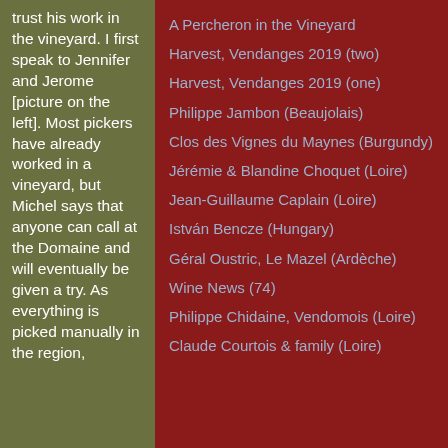trust his work in the vineyard. I first speak to Jennifer and Jerome [picture on the left]. Most pickers have already worked in a vineyard, but Michel says that anyone can call at the Domaine and will eventually be given a try. As everything is picked manually in the region,
A Percheron in the Vineyard
Harvest, Vendanges 2019 (two)
Harvest, Vendanges 2019 (one)
Philippe Jambon (Beaujolais)
Clos des Vignes du Maynes (Burgundy)
Jérémie & Blandine Choquet (Loire)
Jean-Guillaume Caplain (Loire)
István Bencze (Hungary)
Géral Oustric, Le Mazel (Ardèche)
Wine News (74)
Philippe Chidaine, Vendomois (Loire)
Claude Courtois & family (Loire)